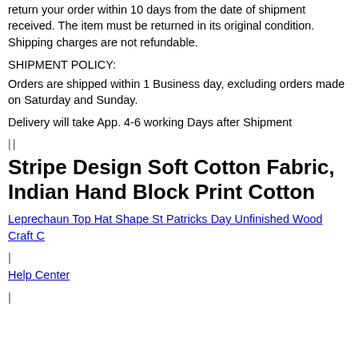return your order within 10 days from the date of shipment received. The item must be returned in its original condition. Shipping charges are not refundable.
SHIPMENT POLICY:
Orders are shipped within 1 Business day, excluding orders made on Saturday and Sunday.
Delivery will take App. 4-6 working Days after Shipment
||
Stripe Design Soft Cotton Fabric, Indian Hand Block Print Cotton
Leprechaun Top Hat Shape St Patricks Day Unfinished Wood Craft C
|
Help Center
|